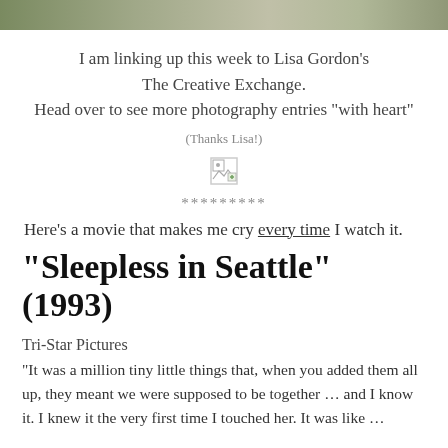[Figure (photo): Top strip of a photo, partially cropped]
I am linking up this week to Lisa Gordon's The Creative Exchange. Head over to see more photography entries "with heart"
(Thanks Lisa!)
[Figure (other): Broken image placeholder icon]
*********
Here's a movie that makes me cry every time I watch it.
"Sleepless in Seattle" (1993)
Tri-Star Pictures
“It was a million tiny little things that, when you added them all up, they meant we were supposed to be together … and I know it. I knew it the very first time I touched her. It was like …